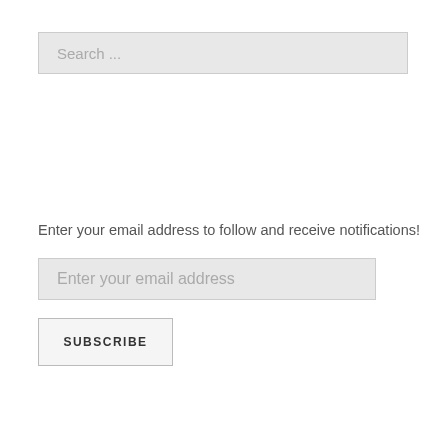Search ...
Enter your email address to follow and receive notifications!
Enter your email address
SUBSCRIBE